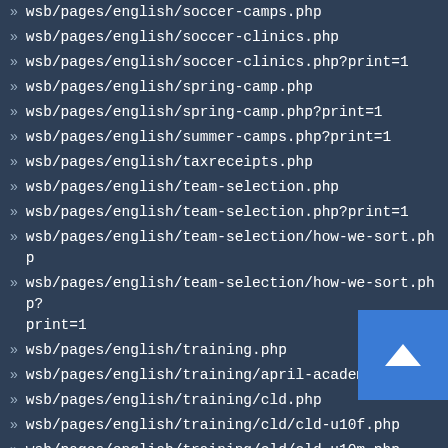wsb/pages/english/soccer-camps.php
wsb/pages/english/soccer-clinics.php
wsb/pages/english/soccer-clinics.php?print=1
wsb/pages/english/spring-camp.php
wsb/pages/english/spring-camp.php?print=1
wsb/pages/english/summer-camps.php?print=1
wsb/pages/english/taxreceipts.php
wsb/pages/english/team-selection.php
wsb/pages/english/team-selection.php?print=1
wsb/pages/english/team-selection/how-we-sort.php
wsb/pages/english/team-selection/how-we-sort.php?print=1
wsb/pages/english/training.php
wsb/pages/english/training/april-academy.php
wsb/pages/english/training/cld.php
wsb/pages/english/training/cld/cld-u10f.php
wsb/pages/english/training/cld/cld-u10m.php
wsb/pages/english/training/cld/cld-u12f.php
wsb/pages/english/training/cld/cld-u12m.php
wsb/pages/english/training/coaches.php
wsb/pages/english/training/coaches/coach-